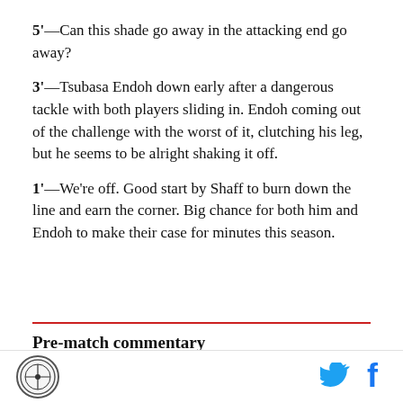5'—Can this shade go away in the attacking end go away?
3'—Tsubasa Endoh down early after a dangerous tackle with both players sliding in. Endoh coming out of the challenge with the worst of it, clutching his leg, but he seems to be alright shaking it off.
1'—We're off. Good start by Shaff to burn down the line and earn the corner. Big chance for both him and Endoh to make their case for minutes this season.
Pre-match commentary
[Figure (logo): Circular club/site logo with cross emblem]
[Figure (logo): Twitter bird icon]
[Figure (logo): Facebook f icon]